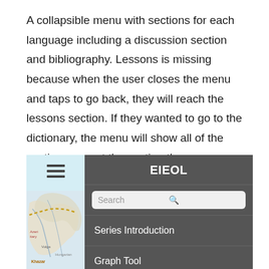A collapsible menu with sections for each language including a discussion section and bibliography. Lessons is missing because when the user closes the menu and taps to go back, they will reach the lessons section. If they wanted to go to the dictionary, the menu will show all of the sections except the section they are currently in.
[Figure (screenshot): Mobile app screenshot showing EIEOL app interface with a light blue left panel containing a hamburger menu icon, a map in the background, and a dark gray right panel with EIEOL header, a search bar, Series Introduction menu item, and Graph Tool menu item]